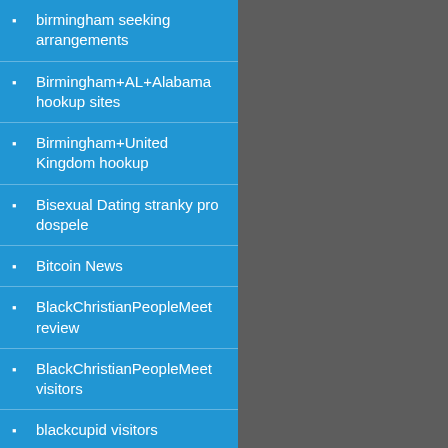birmingham seeking arrangements
Birmingham+AL+Alabama hookup sites
Birmingham+United Kingdom hookup
Bisexual Dating stranky pro dospele
Bitcoin News
BlackChristianPeopleMeet review
BlackChristianPeopleMeet visitors
blackcupid visitors
BlackFling visitors
BlackPlanet find out here